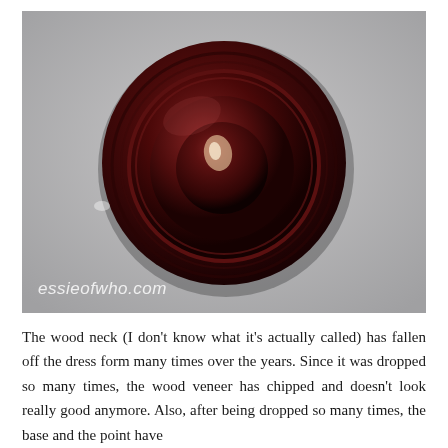[Figure (photo): Close-up top-down photograph of a dark red/burgundy glossy rounded wooden knob or cap with concentric circular ridges, viewed from above. The object sits on a grey surface. A watermark 'essieofwho.com' appears in white italic text at the bottom left of the photo.]
The wood neck (I don't know what it's actually called) has fallen off the dress form many times over the years. Since it was dropped so many times, the wood veneer has chipped and doesn't look really good anymore. Also, after being dropped so many times, the base and the point have